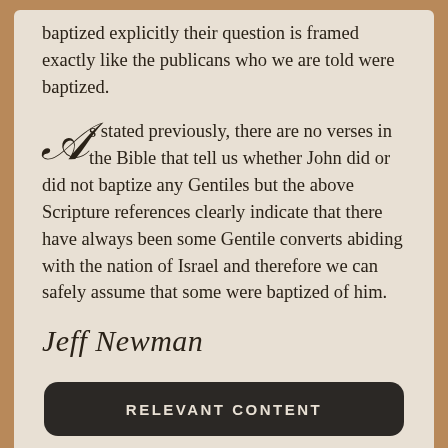baptized explicitly their question is framed exactly like the publicans who we are told were baptized.
As stated previously, there are no verses in the Bible that tell us whether John did or did not baptize any Gentiles but the above Scripture references clearly indicate that there have always been some Gentile converts abiding with the nation of Israel and therefore we can safely assume that some were baptized of him.
Jeff Newman
RELEVANT CONTENT